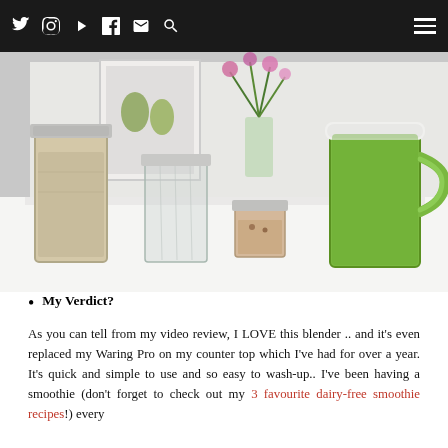Social media icons: Twitter, Instagram, YouTube, Facebook, Email, Search; Hamburger menu
[Figure (photo): Photo of four mason jars and a green smoothie mug on a white counter, with flowers and a framed print in the background]
My Verdict?
As you can tell from my video review, I LOVE this blender .. and it's even replaced my Waring Pro on my counter top which I've had for over a year. It's quick and simple to use and so easy to wash-up.. I've been having a smoothie (don't forget to check out my 3 favourite dairy-free smoothie recipes!) every